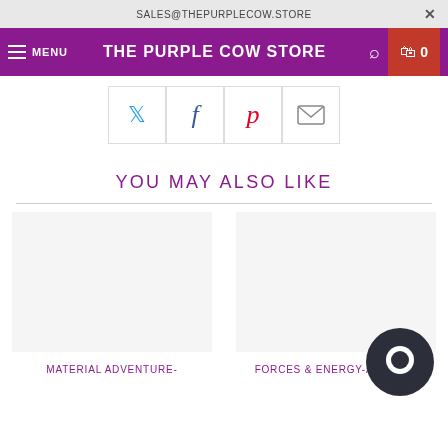SALES@THEPURPLECOW.STORE
THE PURPLE COW STORE
[Figure (screenshot): Social sharing buttons: Twitter, Facebook, Pinterest, Email]
YOU MAY ALSO LIKE
MATERIAL ADVENTURE-
FORCES & ENERGY-ACTIVITY